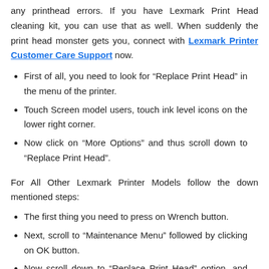any printhead errors. If you have Lexmark Print Head cleaning kit, you can use that as well. When suddenly the print head monster gets you, connect with Lexmark Printer Customer Care Support now.
First of all, you need to look for “Replace Print Head” in the menu of the printer.
Touch Screen model users, touch ink level icons on the lower right corner.
Now click on “More Options” and thus scroll down to “Replace Print Head”.
For All Other Lexmark Printer Models follow the down mentioned steps:
The first thing you need to press on Wrench button.
Next, scroll to “Maintenance Menu” followed by clicking on OK button.
Now scroll down to “Replace Print Head” option, and thus click